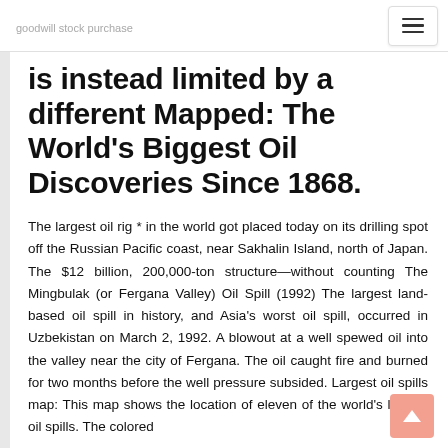goodwill stock purchase
is instead limited by a different Mapped: The World's Biggest Oil Discoveries Since 1868.
The largest oil rig * in the world got placed today on its drilling spot off the Russian Pacific coast, near Sakhalin Island, north of Japan. The $12 billion, 200,000-ton structure—without counting The Mingbulak (or Fergana Valley) Oil Spill (1992) The largest land-based oil spill in history, and Asia's worst oil spill, occurred in Uzbekistan on March 2, 1992. A blowout at a well spewed oil into the valley near the city of Fergana. The oil caught fire and burned for two months before the well pressure subsided. Largest oil spills map: This map shows the location of eleven of the world's largest oil spills. The colored